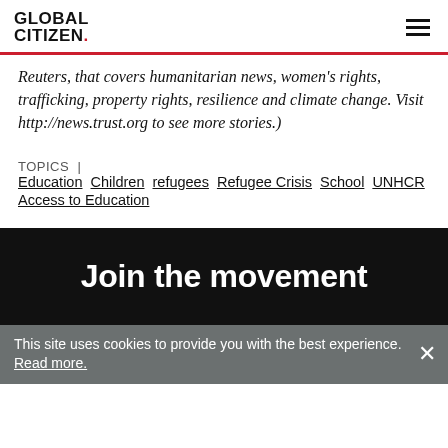GLOBAL CITIZEN.
Reuters, that covers humanitarian news, women's rights, trafficking, property rights, resilience and climate change. Visit http://news.trust.org to see more stories.)
TOPICS | Education  Children  refugees  Refugee Crisis  School  UNHCR  Access to Education
Join the movement
This site uses cookies to provide you with the best experience. Read more.